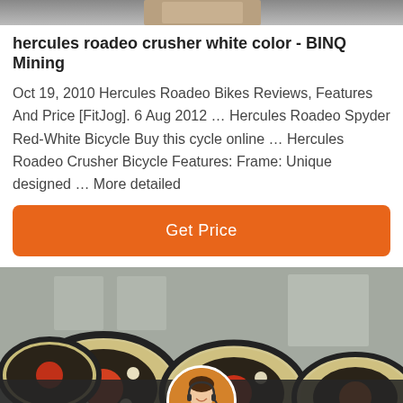[Figure (photo): Top partial image of industrial/mining equipment, cropped at top]
hercules roadeo crusher white color - BINQ Mining
Oct 19, 2010 Hercules Roadeo Bikes Reviews, Features And Price [FitJog]. 6 Aug 2012 … Hercules Roadeo Spyder Red-White Bicycle Buy this cycle online … Hercules Roadeo Crusher Bicycle Features: Frame: Unique designed … More detailed
[Figure (other): Orange 'Get Price' button]
[Figure (photo): Photo of multiple crusher machines/industrial equipment in a warehouse, with a customer service chat overlay bar at the bottom showing Leave Message and Chat Online options with an avatar]
Leave Message  Chat Online